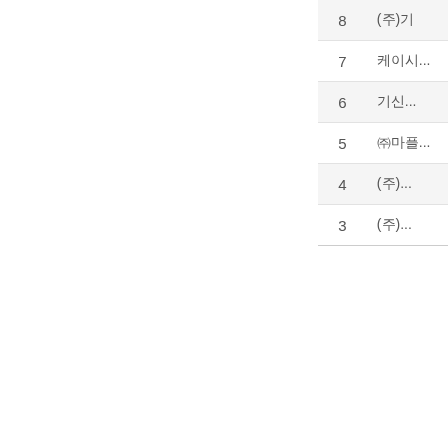| 순위 | 회사명 |
| --- | --- |
| 8 | (주)기... |
| 7 | 케이시... |
| 6 | 기신... |
| 5 | ㈜마플... |
| 4 | (주)... |
| 3 | (주)... |